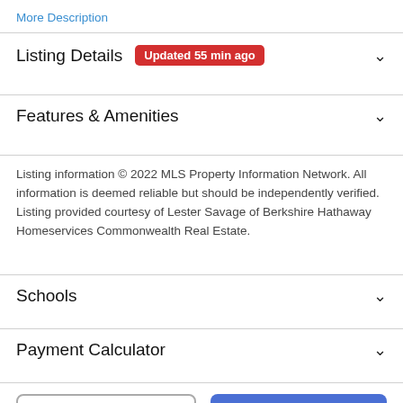More Description
Listing Details  Updated 55 min ago
Features & Amenities
Listing information © 2022 MLS Property Information Network. All information is deemed reliable but should be independently verified. Listing provided courtesy of Lester Savage of Berkshire Hathaway Homeservices Commonwealth Real Estate.
Schools
Payment Calculator
Take a Tour
Ask A Question